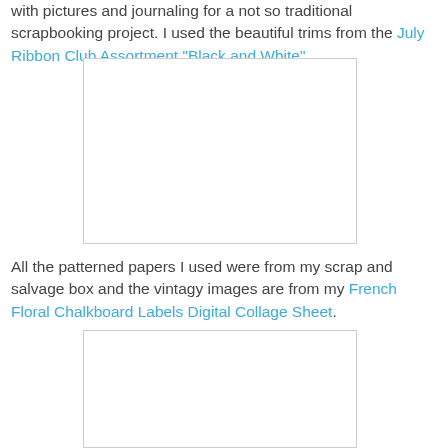with pictures and journaling for a not so traditional scrapbooking project. I used the beautiful trims from the July Ribbon Club Assortment "Black and White"
[Figure (photo): White/blank image placeholder, rectangular, centered on page]
All the patterned papers I used were from my scrap and salvage box and the vintagy images are from my French Floral Chalkboard Labels Digital Collage Sheet.
[Figure (photo): White/blank image placeholder, rectangular, centered on page]